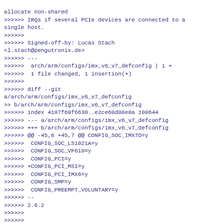allocate non-shared
>>>>>> IRQs if several PCIe devices are connected to a single host.
>>>>>>
>>>>>> Signed-off-by: Lucas Stach <l.stach@pengutronix.de>
>>>>>> ---
>>>>>>  arch/arm/configs/imx_v6_v7_defconfig | 1 +
>>>>>>  1 file changed, 1 insertion(+)
>>>>>>
>>>>>> diff --git a/arch/arm/configs/imx_v6_v7_defconfig
>> b/arch/arm/configs/imx_v6_v7_defconfig
>>>>>> index 4187f69f6630..e2ce60d00e8a 100644
>>>>>> --- a/arch/arm/configs/imx_v6_v7_defconfig
>>>>>> +++ b/arch/arm/configs/imx_v6_v7_defconfig
>>>>>> @@ -45,6 +45,7 @@ CONFIG_SOC_IMX7D=y
>>>>>>  CONFIG_SOC_LS1021A=y
>>>>>>  CONFIG_SOC_VF610=y
>>>>>>  CONFIG_PCI=y
>>>>>> +CONFIG_PCI_MSI=y
>>>>>>  CONFIG_PCI_IMX6=y
>>>>>>  CONFIG_SMP=y
>>>>>>  CONFIG_PREEMPT_VOLUNTARY=y
>>>>>> --
>>>>>> 2.6.2
>>>>>>
>>>>>>
>>>>>>
>>>>>> linux-arm-kernel mailing list